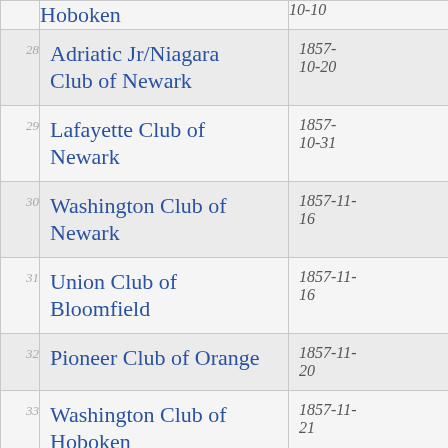| # | Club Name | Date |
| --- | --- | --- |
| 28 | Adriatic Jr/Niagara Club of Newark | 1857-10-20 |
| 29 | Lafayette Club of Newark | 1857-10-31 |
| 30 | Washington Club of Newark | 1857-11-16 |
| 31 | Union Club of Bloomfield | 1857-11-16 |
| 32 | Pioneer Club of Orange | 1857-11-20 |
| 33 | Washington Club of Hoboken | 1857-11-21 |
| 34 | Hudson Club of Hoboken | 1857-11-21 |
| 35 | Olympic Club of … | 1858-… |